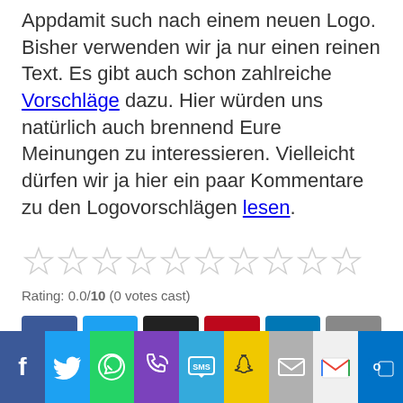Appdamit such nach einem neuen Logo. Bisher verwenden wir ja nur einen reinen Text. Es gibt auch schon zahlreiche Vorschläge dazu. Hier würden uns natürlich auch brennend Eure Meinungen zu interessieren. Vielleicht dürfen wir ja hier ein paar Kommentare zu den Logovorschlägen lesen.
[Figure (other): 10 empty star rating icons in a row]
Rating: 0.0/10 (0 votes cast)
[Figure (infographic): Social share buttons: Facebook, Twitter, Email, Pinterest, LinkedIn, Share]
4. Allgemein   Appdamit, Logo, Logodesign, neues Logo
[Figure (infographic): Bottom social sharing bar with icons: Facebook, Twitter, WhatsApp, Phone, SMS, Snapchat, Email, Gmail, Outlook]